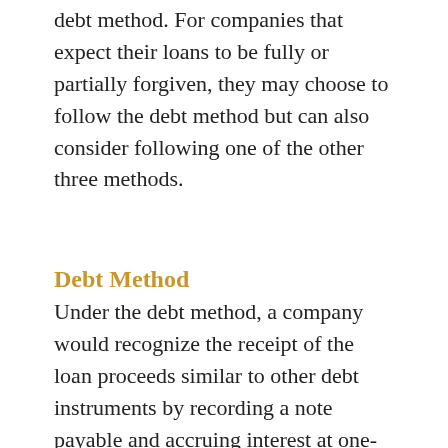loan should be accounted for under the debt method. For companies that expect their loans to be fully or partially forgiven, they may choose to follow the debt method but can also consider following one of the other three methods.
Debt Method
Under the debt method, a company would recognize the receipt of the loan proceeds similar to other debt instruments by recording a note payable and accruing interest at one-percent, the